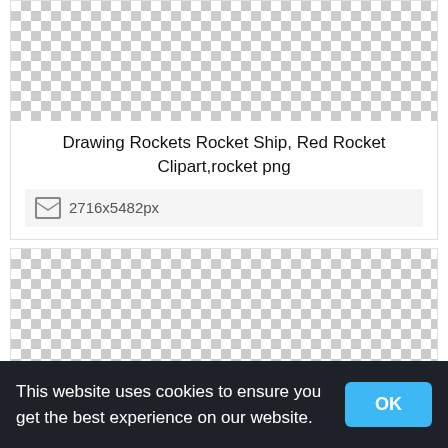[Figure (photo): Checkered transparent background pattern in the top card (top area)]
Drawing Rockets Rocket Ship, Red Rocket Clipart,rocket png
2716x5482px
[Figure (photo): Checkered transparent background pattern in the second card (larger area)]
This website uses cookies to ensure you get the best experience on our website.